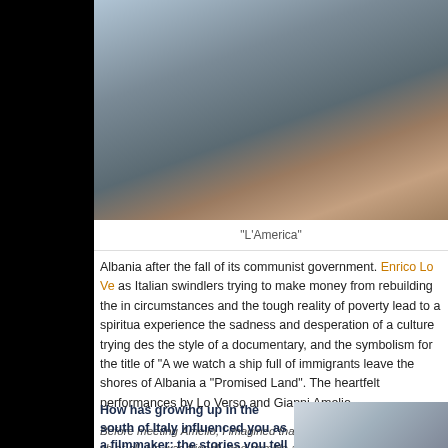[Figure (photo): A close-up photograph of a person appearing to be in distress or sleeping, seemingly on a boat, from the film 'L'America']
"L'America"
Albania after the fall of its communist government. Enrico Lo Ve as Italian swindlers trying to make money from rebuilding the in circumstances and the tough reality of poverty lead to a spiritua experience the sadness and desperation of a culture trying des the style of a documentary, and the symbolism for the title of "A we watch a ship full of immigrants leave the shores of Albania a "Promised Land". The heartfelt performances by Lo Verso and Gianni Amelio.
Before meeting Amelio, I imagined that he would be an intellectual ch at all. He was friendly and humble as he talked with me about his who simply loves what he does and is grateful for the chance to about his work and sharing his inspiration with others.
How has growing up in the south of Italy influenced you as a filmmaker; the stories you tell and
[Figure (photo): A small photograph, partially visible, showing what appears to be an interior scene]